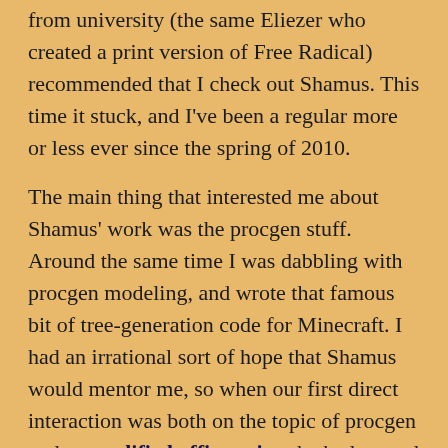from university (the same Eliezer who created a print version of Free Radical) recommended that I check out Shamus. This time it stuck, and I've been a regular more or less ever since the spring of 2010.
The main thing that interested me about Shamus' work was the procgen stuff. Around the same time I was dabbling with procgen modeling, and wrote that famous bit of tree-generation code for Minecraft. I had an irrational sort of hope that Shamus would mentor me, so when our first direct interaction was both on the topic of procgen and unqualified affirmation, he had earned my undying admiration. The video-game critique and writing was fun, but it was the programming that kept me coming back.
When he published his AutoBlography in 2012 I bought a copy, and made a recording as I read it out loud to my little kids. He felt like a family friend after that, and the kids would talk about “Shamus” as casually as you would an